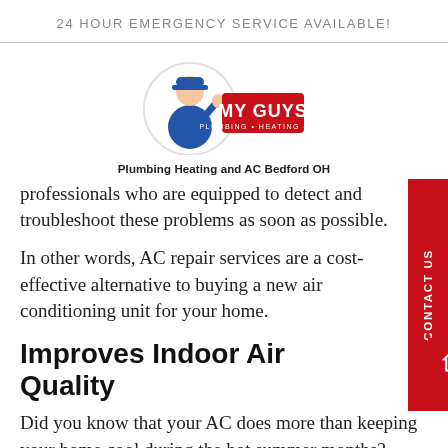24 HOUR EMERGENCY SERVICE AVAILABLE!
[Figure (logo): My Guys Plumbing Heating Air logo with cartoon plumber mascot]
Plumbing Heating and AC Bedford OH
professionals who are equipped to detect and troubleshoot these problems as soon as possible.
In other words, AC repair services are a cost-effective alternative to buying a new air conditioning unit for your home.
Improves Indoor Air Quality
Did you know that your AC does more than keeping your home cool during the hot summer months?